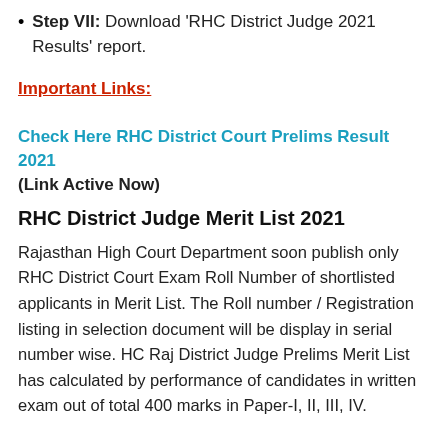Step VII: Download 'RHC District Judge 2021 Results' report.
Important Links:
Check Here RHC District Court Prelims Result 2021
(Link Active Now)
RHC District Judge Merit List 2021
Rajasthan High Court Department soon publish only RHC District Court Exam Roll Number of shortlisted applicants in Merit List. The Roll number / Registration listing in selection document will be display in serial number wise. HC Raj District Judge Prelims Merit List has calculated by performance of candidates in written exam out of total 400 marks in Paper-I, II, III, IV.